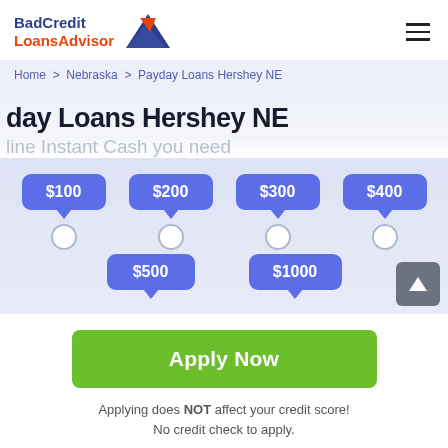BadCredit LoansAdvisor — navigation header with logo and hamburger menu
Home > Nebraska > Payday Loans Hershey NE
day Loans Hershey NE
line Instant Cash you need
[Figure (infographic): Loan amount selector with speech bubble buttons showing $100, $200, $300, $400, $500, $1000 with radio buttons below each, and a scroll-up button]
Apply Now
Applying does NOT affect your credit score!
No credit check to apply.